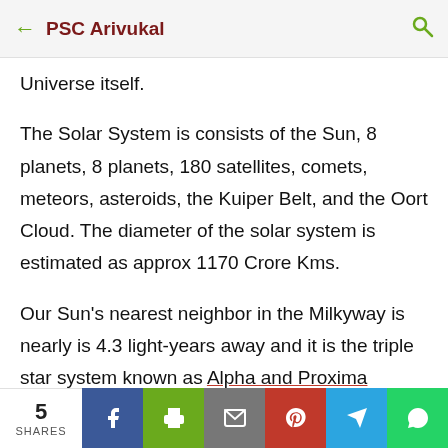PSC Arivukal
…young people in the Universe itself.
The Solar System is consists of the Sun, 8 planets, 8 planets, 180 satellites, comets, meteors, asteroids, the Kuiper Belt, and the Oort Cloud. The diameter of the solar system is estimated as approx 1170 Crore Kms.
Our Sun's nearest neighbor in the Milkyway is nearly is 4.3 light-years away and it is the triple star system known as Alpha and Proxima Centauri.
5 SHARES | Facebook | Print | Mail | Pinterest | Telegram | WhatsApp